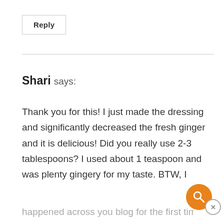Reply
Shari says:
Thank you for this! I just made the dressing and significantly decreased the fresh ginger and it is delicious! Did you really use 2-3 tablespoons? I used about 1 teaspoon and was plenty gingery for my taste. BTW, I
happened across you blog for the first time a